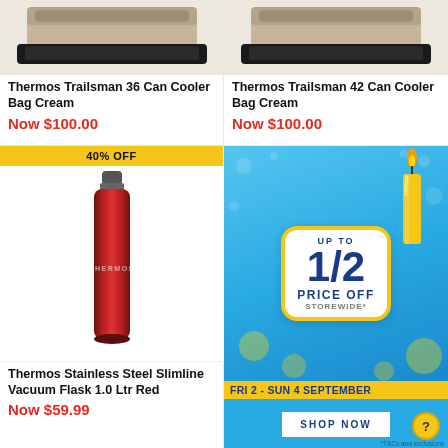[Figure (photo): Thermos Trailsman 36 Can Cooler Bag Cream product image]
Thermos Trailsman 36 Can Cooler Bag Cream
Now $100.00
[Figure (photo): Thermos Trailsman 42 Can Cooler Bag Cream product image]
Thermos Trailsman 42 Can Cooler Bag Cream
Now $100.00
[Figure (photo): Thermos Stainless Steel Slimline Vacuum Flask 1.0 Ltr Red product image with 40% OFF badge]
Thermos Stainless Steel Slimline Vacuum Flask 1.0 Ltr Red
Now $59.99
[Figure (infographic): Promotional banner: UP TO 1/2 PRICE OFF STOREWIDE* FRI 2 - SUN 4 SEPTEMBER with SHOP NOW button, blue background with birthday candle]
FRI 2 - SUN 4 SEPTEMBER